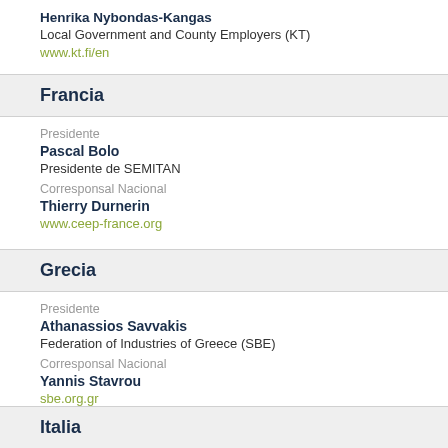Henrika Nybondas-Kangas
Local Government and County Employers (KT)
www.kt.fi/en
Francia
Presidente
Pascal Bolo
Presidente de SEMITAN
Corresponsal Nacional
Thierry Durnerin
www.ceep-france.org
Grecia
Presidente
Athanassios Savvakis
Federation of Industries of Greece (SBE)
Corresponsal Nacional
Yannis Stavrou
sbe.org.gr
Italia